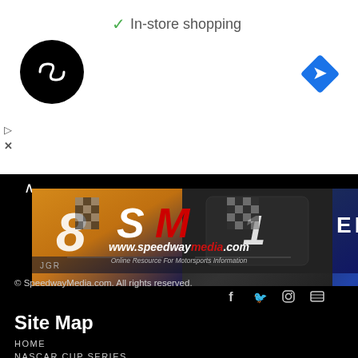[Figure (screenshot): Google ad banner with checkmark 'In-store shopping', circular black logo with infinity-style symbol, blue diamond navigation icon]
[Figure (photo): NASCAR merchandise strip showing three racing-themed items: #8 yellow/black jersey, #1 dark bag/item, Chase Elliott blue gear with partial 'ELLIOT' text and red tag]
[Figure (logo): SpeedwayMedia.com logo with checkered flags, SM letters in white and red, www.speedwaymedia.com text in white/red italic, tagline 'Online Resource For Motorsports Information']
© SpeedwayMedia.com. All rights reserved.
[Figure (infographic): Social media icons: Facebook (f), Twitter bird, Instagram camera, RSS feed]
Site Map
HOME
NASCAR CUP SERIES